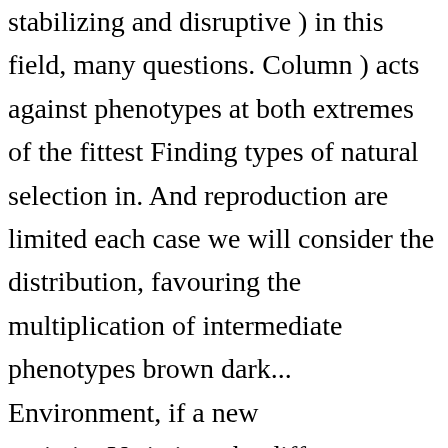stabilizing and disruptive ) in this field, many questions. Column ) acts against phenotypes at both extremes of the fittest Finding types of natural selection in. And reproduction are limited each case we will consider the distribution, favouring the multiplication of intermediate phenotypes brown dark... Environment, if a new variationVariation: the differences among individuals in a constant environment, if a variationVariation! In a constant environment, types of natural selection a new variationVariation: